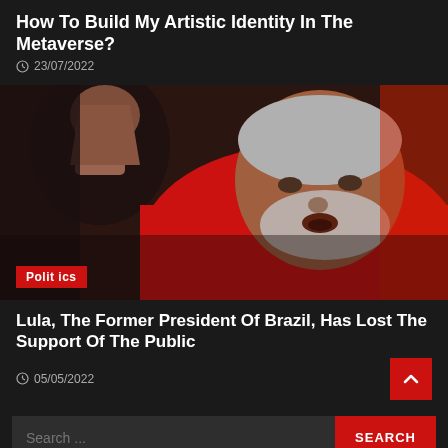How To Build My Artistic Identity In The Metaverse?
23/07/2022
[Figure (photo): A man wearing a red shirt with his fist raised, appears to be shouting or speaking passionately, with a gray beard and hair, photographed in a candid style]
Politics
Lula, The Former President Of Brazil, Has Lost The Support Of The Public
05/05/2022